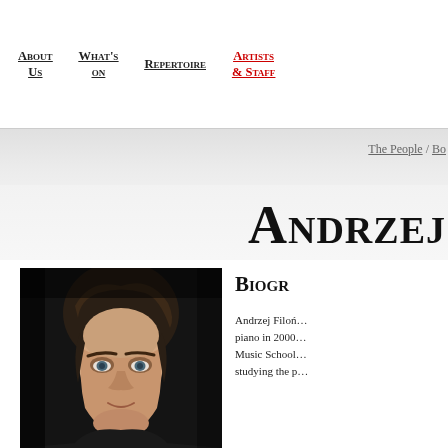About Us | What's on | Repertoire | Artists & Staff
The People / Bo…
Andrzej
Biography
[Figure (photo): Portrait photo of Andrzej, a young man with brown hair against a dark background]
Andrzej Filoń… piano in 2000… Music School… studying the p…